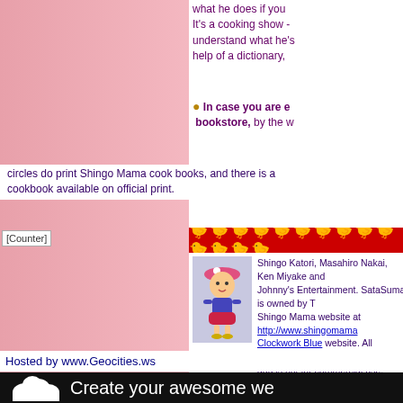what he does if you... It's a cooking show - understand what he's... help of a dictionary,
In case you are ever in a bookstore, by the w... circles do print Shingo Mama cook books, and there is a cookbook available on official print.
[Figure (other): Counter image placeholder]
[Figure (illustration): Red banner with yellow chick emoji decorations repeated across]
[Figure (illustration): Shingo Mama cartoon character illustration - anime girl with pink hat]
Shingo Katori, Masahiro Nakai, Ken Miyake and Johnny's Entertainment. SataSuma is owned by T Shingo Mama website at http://www.shingomama... Clockwork Blue website. All information on this and is not for commercial use.
Hosted by www.Geocities.ws
[Figure (illustration): Black banner with cloud logo and text: Create your awesome we...]
Hosted by www.Geocities.ws